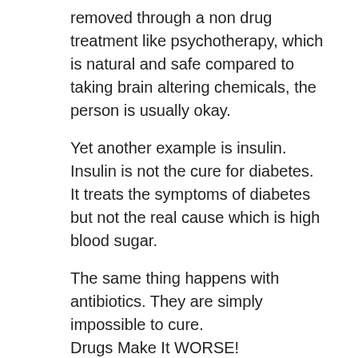removed through a non drug treatment like psychotherapy, which is natural and safe compared to taking brain altering chemicals, the person is usually okay.
Yet another example is insulin. Insulin is not the cure for diabetes. It treats the symptoms of diabetes but not the real cause which is high blood sugar.
The same thing happens with antibiotics. They are simply impossible to cure.
Drugs Make It WORSE!
In fact in the case of yeast infections the prescription drugs compound the problem.
After a while the yeast becomes resistant to antibiotics and the infection comes back with a year! It rages back in your body even worse than ever